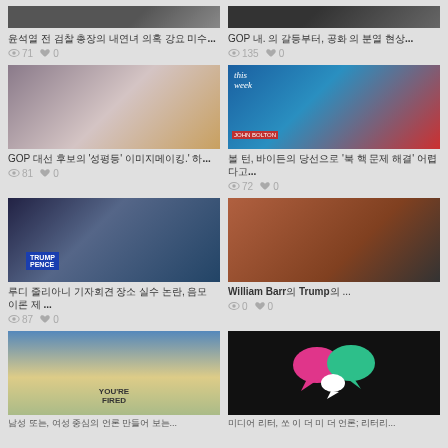[Figure (photo): Two people in dark clothing, top-left article thumbnail]
윤석열 전 검찰 총장의 내연녀 의혹 강요 미수...
👁 71  ♥ 0
[Figure (photo): Two men in suits, top-right article thumbnail]
GOP 내. 의 갈등부터, 공화 의 분열 현상...
👁 135  ♥ 0
[Figure (photo): Three women in casual clothing]
GOP 대선 후보의 '성평등' 이미지메이킹.' 하...
👁 81  ♥ 0
[Figure (photo): John Bolton on This Week ABC News program]
볼 턴, 바이든의 당선으로 '북 핵 문제 해결' 어렵다고...
👁 72  ♥ 0
[Figure (photo): Rudy Giuliani at Trump rally with Trump Pence sign]
루디 줄리아니 기자회견 장소 실수 논란, 음모 이론 제...
👁 87  ♥ 0
[Figure (photo): William Barr wearing blue mask with others]
William Barr의 Trump의 ...
👁 0  ♥ 0
[Figure (photo): YOU'RE FIRED sign outdoors with American flag]
[Figure (illustration): Pink and green speech bubbles on black background]
남성 또는, 여성 중심의 언론 만들어 보는...
미디어 리터, 쏘 이 더 미 더 언론; 리터리...